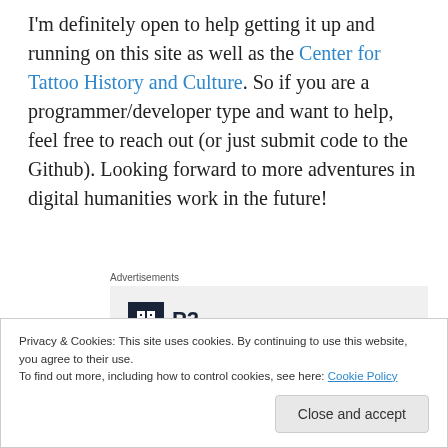I'm definitely open to help getting it up and running on this site as well as the Center for Tattoo History and Culture. So if you are a programmer/developer type and want to help, feel free to reach out (or just submit code to the Github). Looking forward to more adventures in digital humanities work in the future!
[Figure (other): Advertisement block with P2 logo and heading 'Getting your team on' (truncated)]
Privacy & Cookies: This site uses cookies. By continuing to use this website, you agree to their use.
To find out more, including how to control cookies, see here: Cookie Policy